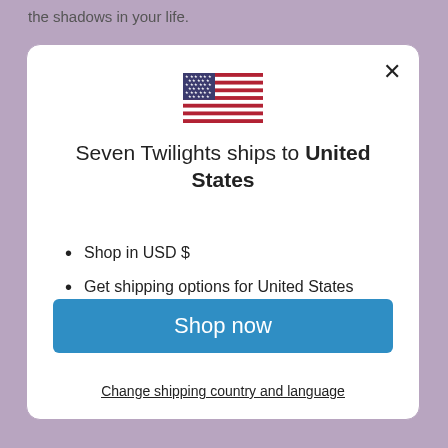the shadows in your life.
[Figure (illustration): US flag SVG illustration inside a modal dialog]
Seven Twilights ships to United States
Shop in USD $
Get shipping options for United States
Language set to English
Shop now
Change shipping country and language